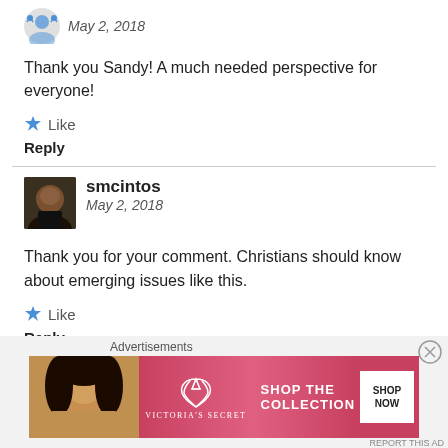May 2, 2018
Thank you Sandy! A much needed perspective for everyone!
Like
Reply
smcintos
May 2, 2018
Thank you for your comment. Christians should know about emerging issues like this.
Like
Reply
Advertisements
[Figure (photo): Victoria's Secret advertisement banner with model and 'SHOP THE COLLECTION' text and SHOP NOW button]